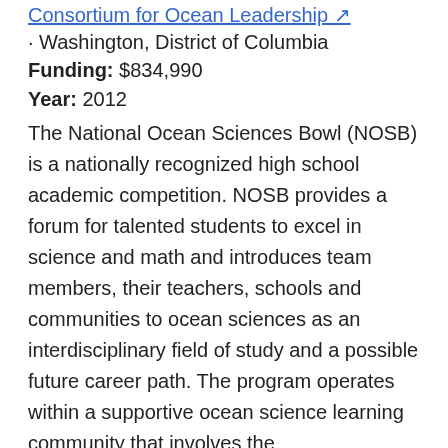Consortium for Ocean Leadership ↗
· Washington, District of Columbia
Funding: $834,990
Year: 2012
The National Ocean Sciences Bowl (NOSB) is a nationally recognized high school academic competition. NOSB provides a forum for talented students to excel in science and math and introduces team members, their teachers, schools and communities to ocean sciences as an interdisciplinary field of study and a possible future career path. The program operates within a supportive ocean science learning community that involves the